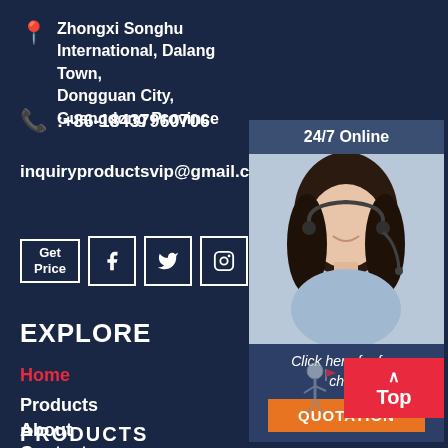Zhongxi Songhu International, Dalang Town, Dongguan City, Guangdong Province
:+86-18437960706
inquiryproductsvip@gmail.com
[Figure (infographic): Social media icons row: Get Price box, Facebook, Twitter, Instagram, Google+, YouTube]
EXPLORE
Home
Products
About
Contact
[Figure (infographic): 24/7 Online chat widget with customer service photo, Click here for free chat text, and QUOTATION button]
Top
PRODUCTS (partial, bottom of page)